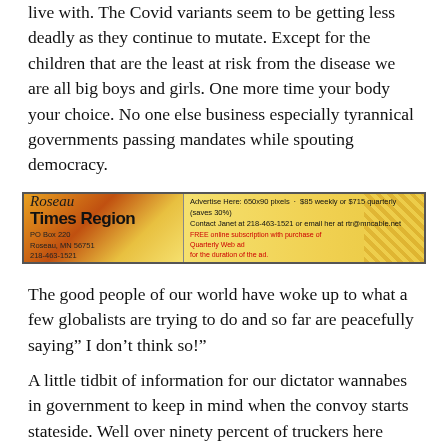live with. The Covid variants seem to be getting less deadly as they continue to mutate. Except for the children that are the least at risk from the disease we are all big boys and girls. One more time your body your choice. No one else business especially tyrannical governments passing mandates while spouting democracy.
[Figure (other): Roseau Times Region newspaper advertisement banner. Shows newspaper logo on left with address PO Box 220, Roseau, MN 56751, 218-463-1521. Right side shows ad rates: Advertise Here: 650x90 pixels, $85 weekly or $715 quarterly (saves 30%). Contact Janet at 218-463-1521 or email her at rtr@mncable.net. FREE online subscription with purchase of Quarterly Web ad for the duration of the ad.]
The good people of our world have woke up to what a few globalists are trying to do and so far are peacefully saying" I don't think so!"
A little tidbit of information for our dictator wannabes in government to keep in mind when the convoy starts stateside. Well over ninety percent of truckers here have permits to carry and do. If anything keeps this country from going communist, it is our second...